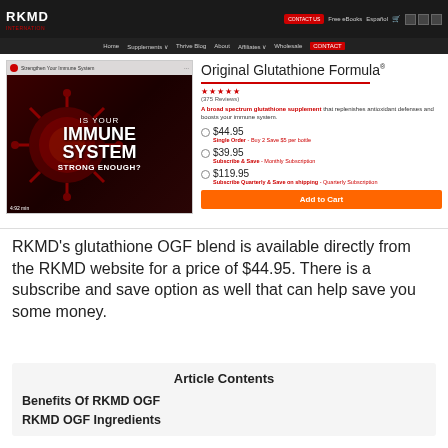[Figure (screenshot): RKMD website screenshot showing Original Glutathione Formula product page with video thumbnail, star rating, pricing options ($44.95, $39.95, $119.95), and Add to Cart button]
RKMD's glutathione OGF blend is available directly from the RKMD website for a price of $44.95. There is a subscribe and save option as well that can help save you some money.
Article Contents
Benefits Of RKMD OGF
RKMD OGF Ingredients